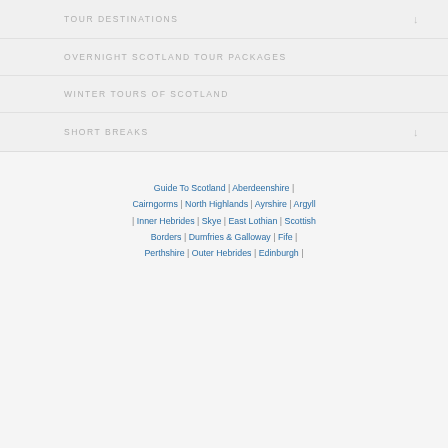TOUR DESTINATIONS
OVERNIGHT SCOTLAND TOUR PACKAGES
WINTER TOURS OF SCOTLAND
SHORT BREAKS
Guide To Scotland | Aberdeenshire | Cairngorms | North Highlands | Ayrshire | Argyll | Inner Hebrides | Skye | East Lothian | Scottish Borders | Dumfries & Galloway | Fife | Perthshire | Outer Hebrides | Edinburgh |